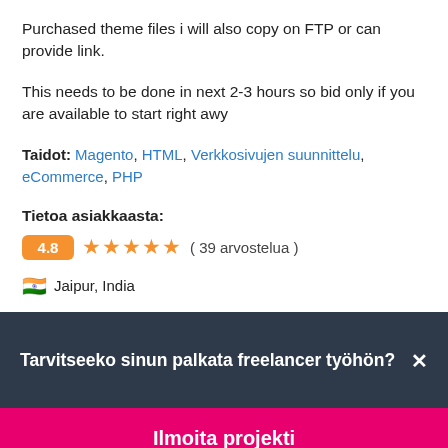Purchased theme files i will also copy on FTP or can provide link.
This needs to be done in next 2-3 hours so bid only if you are available to start right awy
Taidot: Magento, HTML, Verkkosivujen suunnittelu, eCommerce, PHP
Tietoa asiakkaasta:
4.8 ★★★★★ ( 39 arvostelua )
🇮🇳 Jaipur, India
Tarvitseeko sinun palkata freelancer työhön? ✕
Ilmoita projekti